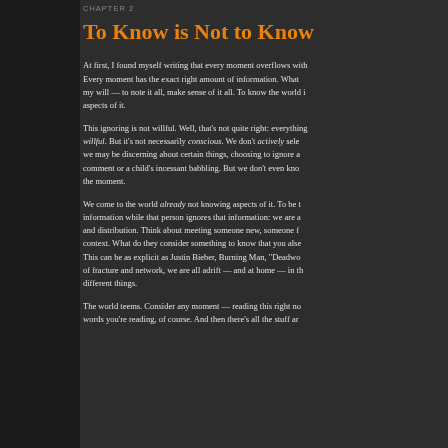CHAPTER 2
To Know is Not to Know
At first, I found myself writing that every moment overflows with information. Every moment has the exact right amount of information. What my will — to note it all, make sense of it all. To know the world is aspects of it.
This ignoring is not willful. Well, that's not quite right: everything willful. But it's not necessarily conscious. We don't actively sele we may be discerning about certain things, choosing to ignore a comment or a child's incessant babbling. But we don't even kno the moment.
We come to the world already not knowing aspects of it. To be t information while that person ignores that information: we are a and distribution. Think about meeting someone new, someone f context. What do they consider something to know that you alse This can be as explicit as Justin Bieber, Burning Man, "Deadwo of fracture and network, we are all adrift — and at home — in th different things.
The world teems. Consider any moment — reading this right no words you're reading, of course. And then there's all the stuff ar